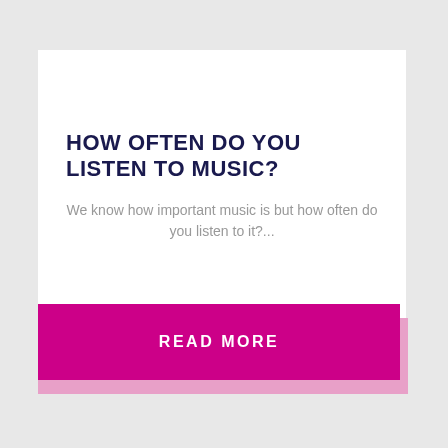HOW OFTEN DO YOU LISTEN TO MUSIC?
We know how important music is but how often do you listen to it?...
READ MORE